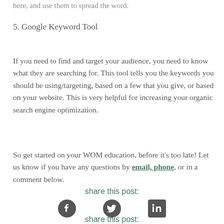here, and use them to spread the word.
5. Google Keyword Tool
If you need to find and target your audience, you need to know what they are searching for. This tool tells you the keywords you should be using/targeting, based on a few that you give, or based on your website. This is very helpful for increasing your organic search engine optimization.
So get started on your WOM education, before it's too late! Let us know if you have any questions by email, phone, or in a comment below.
share this post:
[Figure (other): Social media share icons: Facebook, Twitter, LinkedIn]
share this post:
[Figure (other): Social media share icons (partial): Facebook, Twitter, LinkedIn]